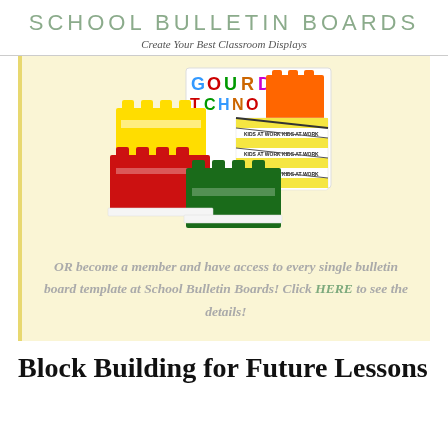SCHOOL BULLETIN BOARDS
Create Your Best Classroom Displays
[Figure (illustration): Colorful building block / LEGO-style bulletin board template pieces in yellow, red, green, orange, and a black-and-yellow striped 'Kids at Work' design]
OR become a member and have access to every single bulletin board template at School Bulletin Boards! Click HERE to see the details!
Block Building for Future Lessons